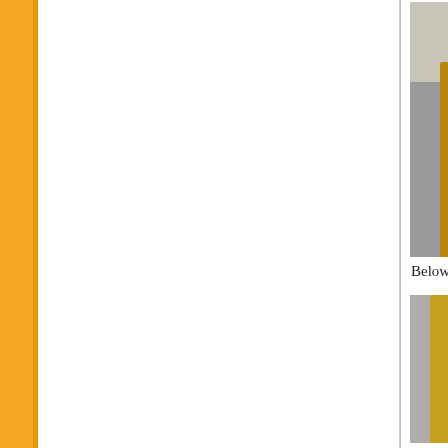[Figure (photo): Top photograph showing a stainless steel component on a metal plate with wooden beams/rails visible. A circular metal ring or disc is visible in the upper right corner of the metal plate. Black rubber grommets are visible at corners.]
Below the stainless steel ring is install
[Figure (photo): Bottom photograph showing a stainless steel ring installed on a square metal plate. The ring has a wire or bracket mechanism visible in the center. Wooden rails/beams are visible on either side. The assembly is shown from above, with another component visible below.]